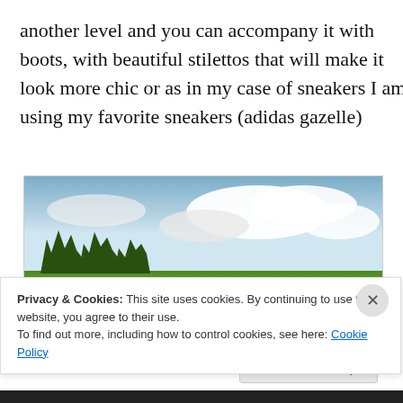another level and you can accompany it with boots, with beautiful stilettos that will make it look more chic or as in my case of sneakers I am using my favorite sneakers (adidas gazelle)
[Figure (photo): A woman standing in a large yellow flower field under a partly cloudy blue sky, with trees visible on the horizon.]
Privacy & Cookies: This site uses cookies. By continuing to use this website, you agree to their use.
To find out more, including how to control cookies, see here: Cookie Policy
Close and accept